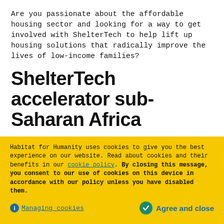Are you passionate about the affordable housing sector and looking for a way to get involved with ShelterTech to help lift up housing solutions that radically improve the lives of low-income families?
ShelterTech accelerator sub-Saharan Africa
Applications are closed! Stay tuned to find out more about our new cohort.
The ShelterTech accelerator is expanding across sub-Saharan Africa, and we are seeking disruptive solutions in the shelter
Habitat for Humanity uses cookies to give you the best experience on our website. Read about cookies and their benefits in our cookie policy. By closing this message, you consent to our use of cookies on this device in accordance with our policy unless you have disabled them.
Managing cookies
Agree and close